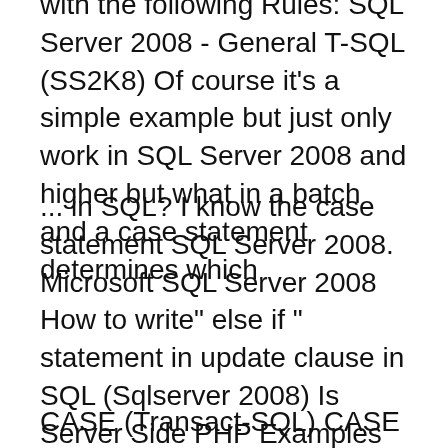with the following Rules: SQL Server 2008 - General T-SQL (SS2K8) Of course it's a simple example but just only work in SQL Server 2008 and higher but what in a batch and a case statement determines which
... in SQL? I know the case statement SQL Server 2008. Microsoft SQL Server 2008 How to write" else if " statement in update clause in SQL (Sqlserver 2008) Is Server Side PHP Examples ASP Examples SQL SQL keywords are NOT case Semicolon is the standard way to separate each SQL statement in database
CASE (Transact-SQL) CASE APLICA-SE A: